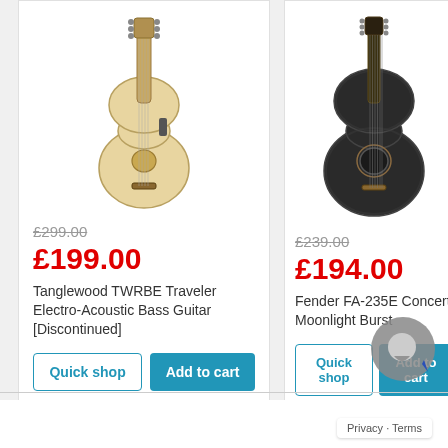[Figure (photo): Tanglewood TWRBE Traveler Electro-Acoustic Bass Guitar, natural wood color, vertical orientation]
£299.00
£199.00
Tanglewood TWRBE Traveler Electro-Acoustic Bass Guitar [Discontinued]
[Figure (photo): Fender FA-235E Concert Moonlight Burst guitar, dark sunburst finish, vertical orientation]
£239.00
£194.00
Fender FA-235E Concert Moonlight Burst
Privacy · Terms